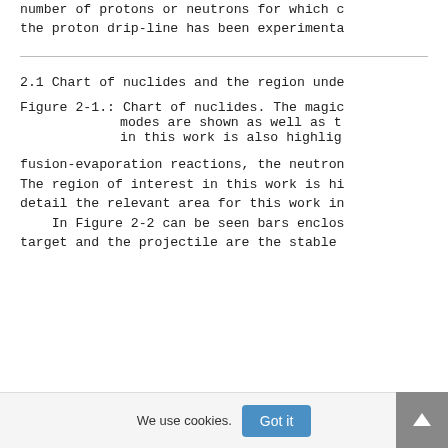number of protons or neutrons for which c the proton drip-line has been experimenta
2.1 Chart of nuclides and the region unde
Figure 2-1.: Chart of nuclides. The magic modes are shown as well as t in this work is also highlig
fusion-evaporation reactions, the neutron The region of interest in this work is hi detail the relevant area for this work in In Figure 2-2 can be seen bars enclos target and the projectile are the stable
We use cookies. Got it